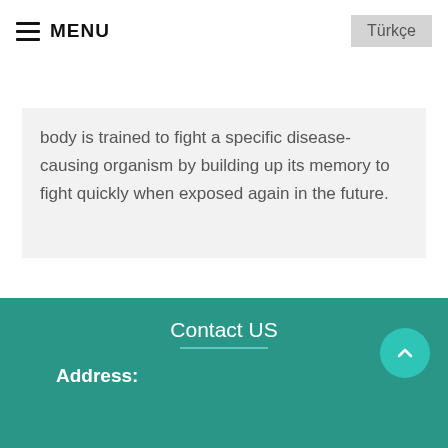MENU | Türkçe
body is trained to fight a specific disease-causing organism by building up its memory to fight quickly when exposed again in the future.
Contact US
Address: